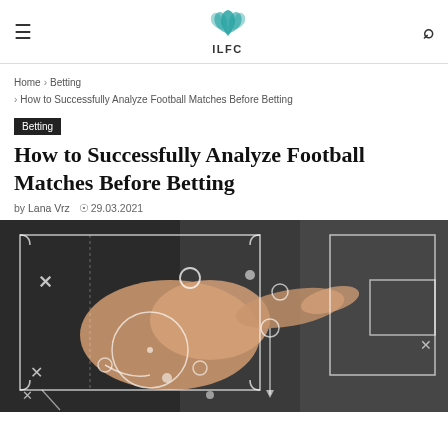ILFC
Home > Betting > How to Successfully Analyze Football Matches Before Betting
Betting
How to Successfully Analyze Football Matches Before Betting
by Lana Vrz  29.03.2021
[Figure (photo): A hand pointing at a tactical football diagram drawn in white chalk on a dark board, showing X's, O's, arrows, and field markings representing football match strategy.]